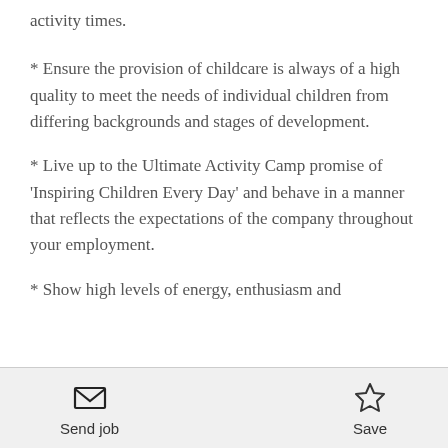activity times.
* Ensure the provision of childcare is always of a high quality to meet the needs of individual children from differing backgrounds and stages of development.
* Live up to the Ultimate Activity Camp promise of 'Inspiring Children Every Day' and behave in a manner that reflects the expectations of the company throughout your employment.
* Show high levels of energy, enthusiasm and
Send job   Save